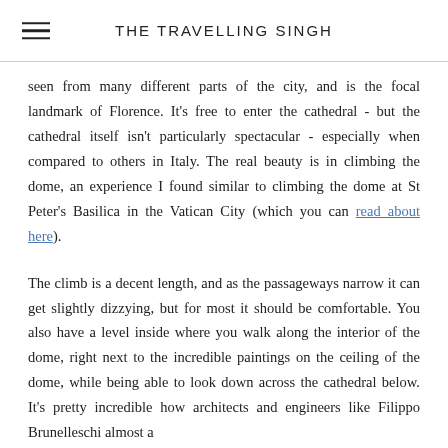THE TRAVELLING SINGH
seen from many different parts of the city, and is the focal landmark of Florence. It's free to enter the cathedral - but the cathedral itself isn't particularly spectacular - especially when compared to others in Italy. The real beauty is in climbing the dome, an experience I found similar to climbing the dome at St Peter's Basilica in the Vatican City (which you can read about here).
The climb is a decent length, and as the passageways narrow it can get slightly dizzying, but for most it should be comfortable. You also have a level inside where you walk along the interior of the dome, right next to the incredible paintings on the ceiling of the dome, while being able to look down across the cathedral below. It's pretty incredible how architects and engineers like Filippo Brunelleschi almost a